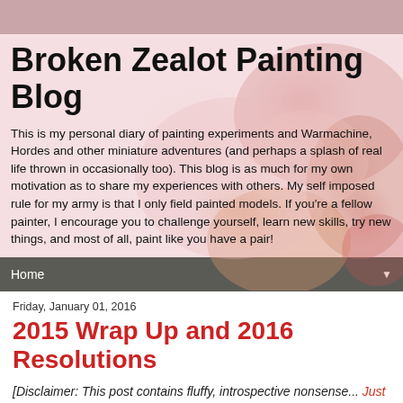Broken Zealot Painting Blog
This is my personal diary of painting experiments and Warmachine, Hordes and other miniature adventures (and perhaps a splash of real life thrown in occasionally too). This blog is as much for my own motivation as to share my experiences with others. My self imposed rule for my army is that I only field painted models. If you're a fellow painter, I encourage you to challenge yourself, learn new skills, try new things, and most of all, paint like you have a pair!
Home
Friday, January 01, 2016
2015 Wrap Up and 2016 Resolutions
[Disclaimer: This post contains fluffy, introspective nonsense... Just like last year's did.]